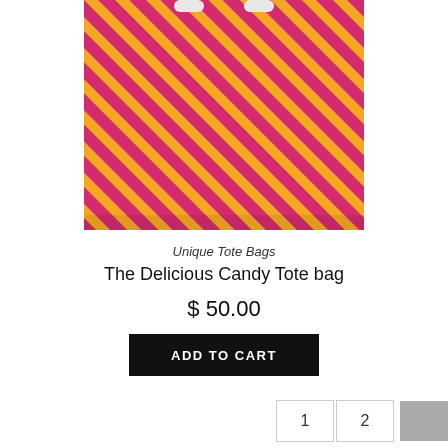[Figure (photo): A tote bag with a pink and orange diagonal stripe pattern fabric, photographed from above/front showing the bag body.]
Unique Tote Bags
The Delicious Candy Tote bag
$ 50.00
ADD TO CART
1  2